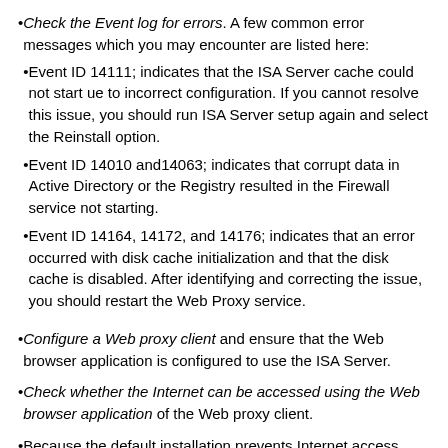Check the Event log for errors. A few common error messages which you may encounter are listed here:
Event ID 14111; indicates that the ISA Server cache could not start ue to incorrect configuration. If you cannot resolve this issue, you should run ISA Server setup again and select the Reinstall option.
Event ID 14010 and14063; indicates that corrupt data in Active Directory or the Registry resulted in the Firewall service not starting.
Event ID 14164, 14172, and 14176; indicates that an error occurred with disk cache initialization and that the disk cache is disabled. After identifying and correcting the issue, you should restart the Web Proxy service.
Configure a Web proxy client and ensure that the Web browser application is configured to use the ISA Server.
Check whether the Internet can be accessed using the Web browser application of the Web proxy client.
Because the default installation prevents Internet access, you should be returned with the 502 proxy